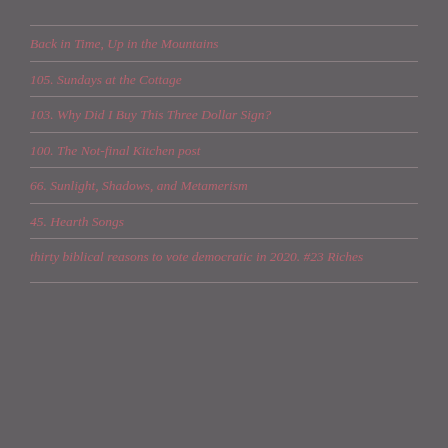Back in Time, Up in the Mountains
105. Sundays at the Cottage
103. Why Did I Buy This Three Dollar Sign?
100. The Not-final Kitchen post
66. Sunlight, Shadows, and Metamerism
45. Hearth Songs
thirty biblical reasons to vote democratic in 2020. #23 Riches